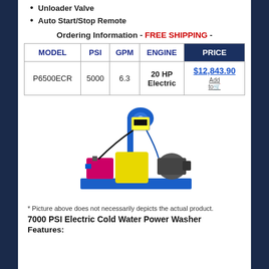Unloader Valve
Auto Start/Stop Remote
Ordering Information - FREE SHIPPING
| MODEL | PSI | GPM | ENGINE | PRICE |
| --- | --- | --- | --- | --- |
| P6500ECR | 5000 | 6.3 | 20 HP Electric | $12,843.90 |
[Figure (photo): Electric cold water pressure washer unit mounted on a blue steel frame, featuring a yellow tank, motor, and hose reel assembly]
* Picture above does not necessarily depicts the actual product.
7000 PSI Electric Cold Water Power Washer
Features: